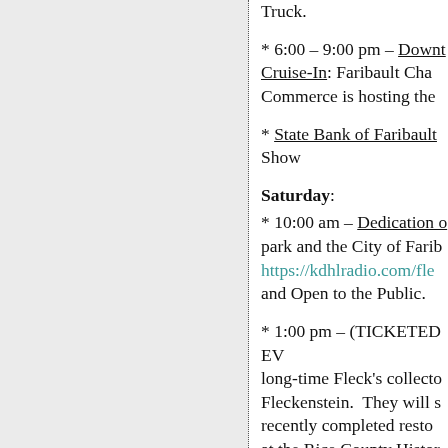Truck.
* 6:00 – 9:00 pm – Downtown Cruise-In: Faribault Chamber of Commerce is hosting the
* State Bank of Faribault Show
Saturday:
* 10:00 am – Dedication of park and the City of Faribault https://kdhlradio.com/fle and Open to the Public.
* 1:00 pm – (TICKETED EVENT) long-time Fleck's collector Fleckenstein. They will show recently completed restoration at the Rice County Historical
* 3:00 pm (TICKETED EVENT) will be able to take a tour